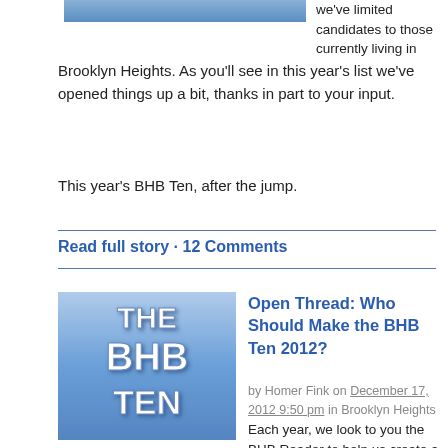[Figure (illustration): Partial top banner image cropped at top of page]
we've limited candidates to those currently living in Brooklyn Heights. As you'll see in this year's list we've opened things up a bit, thanks in part to your input.
This year's BHB Ten, after the jump.
Read full story · 12 Comments
[Figure (logo): THE BHB TEN logo - white 3D text on blue gradient background]
Open Thread: Who Should Make the BHB Ten 2012?
by Homer Fink on December 17, 2012 9:50 pm in Brooklyn Heights
Each year, we look to you the BHB Reader to help us create a list of the top